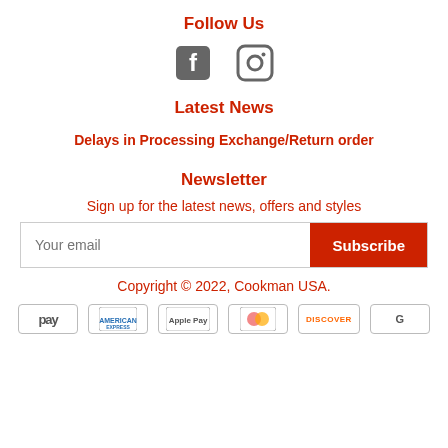Follow Us
[Figure (illustration): Facebook and Instagram social media icons]
Latest News
Delays in Processing Exchange/Return order
Newsletter
Sign up for the latest news, offers and styles
Your email [Subscribe button]
Copyright © 2022, Cookman USA.
[Figure (logo): Payment method logos: Pay, American Express, Apple Pay, Maestro/other, Discover, G Pay]